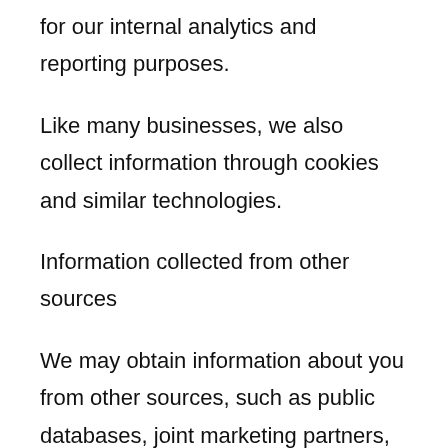for our internal analytics and reporting purposes.
Like many businesses, we also collect information through cookies and similar technologies.
Information collected from other sources
We may obtain information about you from other sources, such as public databases, joint marketing partners, as well as from other third parties. Examples of the information we receive from other sources include social media profile information; marketing leads and search results and links, including paid listings (such as sponsored links).